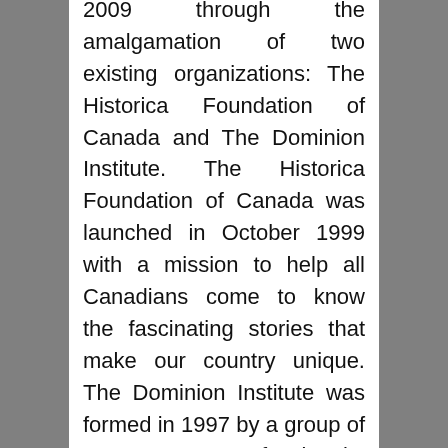2009 through the amalgamation of two existing organizations: The Historica Foundation of Canada and The Dominion Institute. The Historica Foundation of Canada was launched in October 1999 with a mission to help all Canadians come to know the fascinating stories that make our country unique. The Dominion Institute was formed in 1997 by a group of young professionals, concerned about the erosion of a common memory and civic identity in Canada. Using groundbreaking public opinion research and innovative TV, new media and in-school programs, the